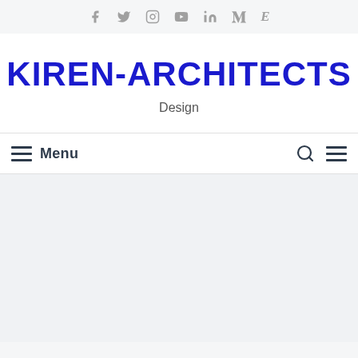Social media icons: Facebook, Twitter, Instagram, YouTube, LinkedIn, Medium, Etsy
KIREN-ARCHITECTS
Design
Menu
[Figure (other): Empty content area with light grey background]